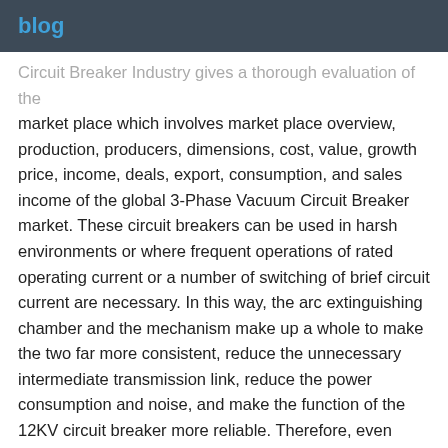blog
Circuit Breaker Industry gives a thorough evaluation of the market place which involves market place overview, production, producers, dimensions, cost, value, growth price, income, deals, export, consumption, and sales income of the global 3-Phase Vacuum Circuit Breaker market. These circuit breakers can be used in harsh environments or where frequent operations of rated operating current or a number of switching of brief circuit current are necessary. In this way, the arc extinguishing chamber and the mechanism make up a whole to make the two far more consistent, reduce the unnecessary intermediate transmission link, reduce the power consumption and noise, and make the function of the 12KV circuit breaker more reliable. Therefore, even even though the contacts could erode, there will be sufficient force remaining in the precompression of the spring 42 to create the necessary get in touch with stress for the